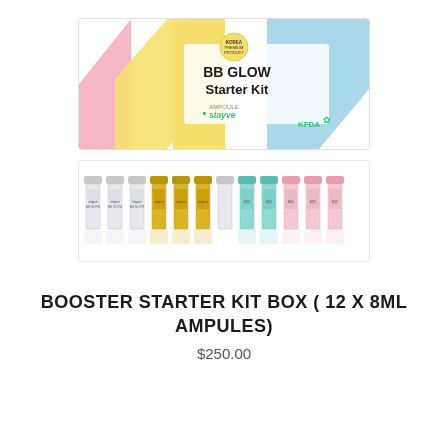[Figure (photo): BB Glow Starter Kit box with colorful geometric design (pink, yellow, blue, white triangles/stripes), featuring the text 'BB GLOW Starter Kit', 'stayve' branding logo, and 'KFDA' certification mark]
[Figure (photo): Row of 12 small glass ampules/vials in various colors (clear, gold/amber, teal/green, pink) with stayve labels, displayed in a line]
BOOSTER STARTER KIT BOX ( 12 X 8ML AMPULES)
$250.00